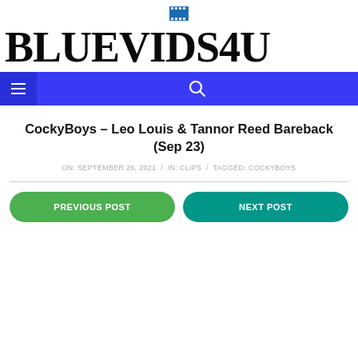[Figure (logo): Film strip emoji icon above site title]
BLUEVIDS4U
Navigation bar with hamburger menu and search icon
CockyBoys – Leo Louis & Tannor Reed Bareback (Sep 23)
ON: SEPTEMBER 26, 2021 / IN: CLIPS / TAGGED: COCKYBOYS
PREVIOUS POST | NEXT POST